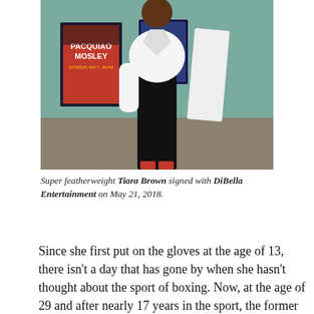[Figure (photo): A person standing in a gym or boxing room wearing black pants and a white jacket/shirt with boxing fight posters on the teal wall behind them, including a Pacquiao vs Mosley poster.]
Super featherweight Tiara Brown signed with DiBella Entertainment on May 21, 2018.
Since she first put on the gloves at the age of 13, there isn't a day that has gone by when she hasn't thought about the sport of boxing. Now, at the age of 29 and after nearly 17 years in the sport, the former amateur USA Boxing National Champion and AIBA World Champion has a 4-0 professional record with two KOs. She is also on the cusp of making another leap forward in her boxing career.